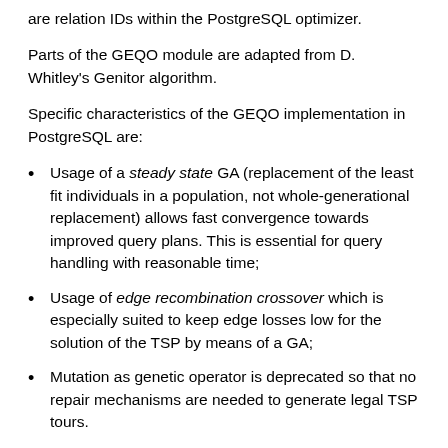are relation IDs within the PostgreSQL optimizer.
Parts of the GEQO module are adapted from D. Whitley's Genitor algorithm.
Specific characteristics of the GEQO implementation in PostgreSQL are:
Usage of a steady state GA (replacement of the least fit individuals in a population, not whole-generational replacement) allows fast convergence towards improved query plans. This is essential for query handling with reasonable time;
Usage of edge recombination crossover which is especially suited to keep edge losses low for the solution of the TSP by means of a GA;
Mutation as genetic operator is deprecated so that no repair mechanisms are needed to generate legal TSP tours.
The GEQO module allows the PostgreSQL query optimizer to